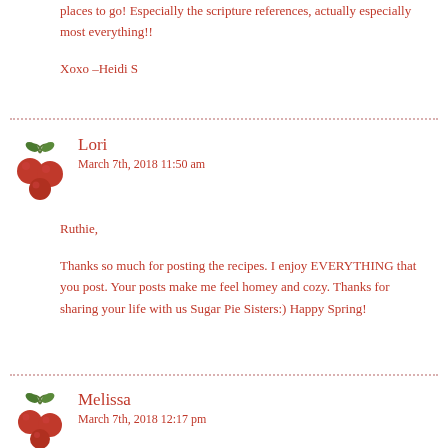places to go! Especially the scripture references, actually especially most everything!!
Xoxo –Heidi S
[Figure (illustration): Cherry icon for commenter Lori]
Lori
March 7th, 2018 11:50 am
Ruthie,
Thanks so much for posting the recipes. I enjoy EVERYTHING that you post. Your posts make me feel homey and cozy. Thanks for sharing your life with us Sugar Pie Sisters:) Happy Spring!
[Figure (illustration): Cherry icon for commenter Melissa]
Melissa
March 7th, 2018 12:17 pm